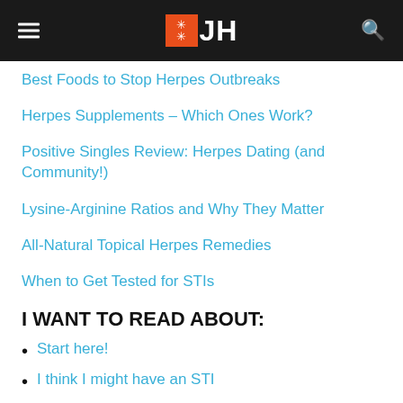JH (logo/navigation header)
Best Foods to Stop Herpes Outbreaks
Herpes Supplements – Which Ones Work?
Positive Singles Review: Herpes Dating (and Community!)
Lysine-Arginine Ratios and Why They Matter
All-Natural Topical Herpes Remedies
When to Get Tested for STIs
I WANT TO READ ABOUT:
Start here!
I think I might have an STI